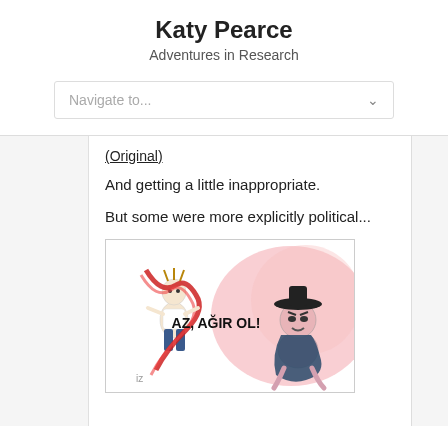Katy Pearce
Adventures in Research
Navigate to...
(Original)
And getting a little inappropriate.
But some were more explicitly political...
[Figure (illustration): A cartoon meme image showing an animated dancing deer figure on the left with a red ribbon/scarf, and on the right a dark-hatted cartoon villain character crouching. Bold text in the middle reads 'AZ, AĞIR OL!' with a small 'iz' watermark in the lower left.]